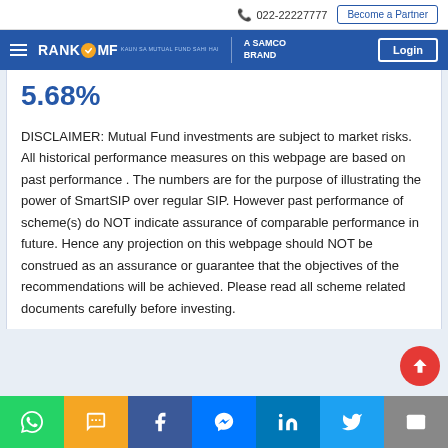📞 022-22227777   Become a Partner
RANK MF – A SAMCO BRAND   Login
5.68%
DISCLAIMER: Mutual Fund investments are subject to market risks. All historical performance measures on this webpage are based on past performance . The numbers are for the purpose of illustrating the power of SmartSIP over regular SIP. However past performance of scheme(s) do NOT indicate assurance of comparable performance in future. Hence any projection on this webpage should NOT be construed as an assurance or guarantee that the objectives of the recommendations will be achieved. Please read all scheme related documents carefully before investing.
WhatsApp | SMS | Facebook | Messenger | LinkedIn | Twitter | Email